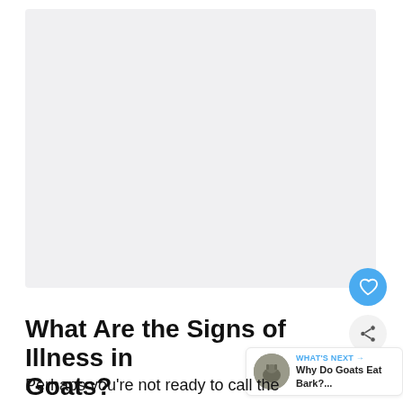[Figure (photo): Large image area placeholder (light gray rectangle), likely a photo related to goat illness signs]
What Are the Signs of Illness in Goats?
WHAT'S NEXT → Why Do Goats Eat Bark?...
Perhaps you're not ready to call the